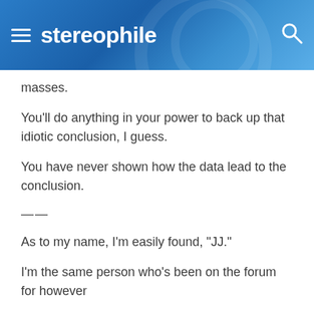stereophile
masses.
You'll do anything in your power to back up that idiotic conclusion, I guess.
You have never shown how the data lead to the conclusion.
—
As to my name, I'm easily found, "JJ."
I'm the same person who's been on the forum for however